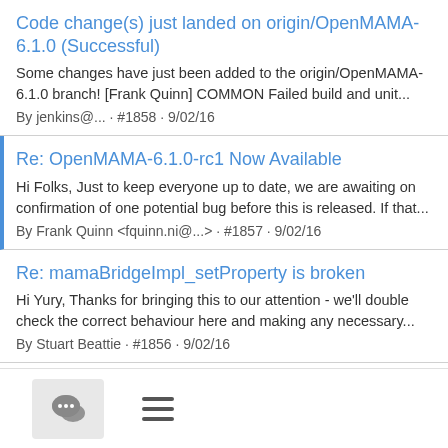Code change(s) just landed on origin/OpenMAMA-6.1.0 (Successful)
Some changes have just been added to the origin/OpenMAMA-6.1.0 branch! [Frank Quinn] COMMON Failed build and unit...
By jenkins@... · #1858 · 9/02/16
Re: OpenMAMA-6.1.0-rc1 Now Available
Hi Folks, Just to keep everyone up to date, we are awaiting on confirmation of one potential bug before this is released. If that...
By Frank Quinn <fquinn.ni@...> · #1857 · 9/02/16
Re: mamaBridgeImpl_setProperty is broken
Hi Yury, Thanks for bringing this to our attention - we'll double check the correct behaviour here and making any necessary...
By Stuart Beattie · #1856 · 9/02/16
Code change(s) just landed on origin/next (Successful)
Some changes have just been added to the origin/next branch!